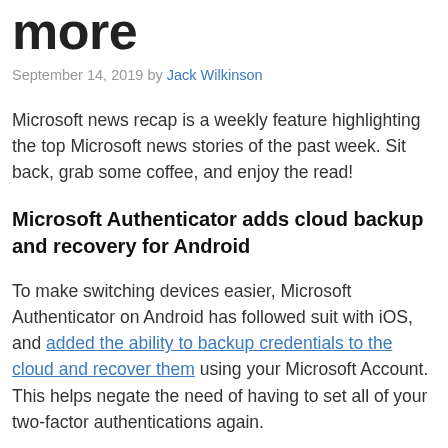more
September 14, 2019 by Jack Wilkinson
Microsoft news recap is a weekly feature highlighting the top Microsoft news stories of the past week. Sit back, grab some coffee, and enjoy the read!
Microsoft Authenticator adds cloud backup and recovery for Android
To make switching devices easier, Microsoft Authenticator on Android has followed suit with iOS, and added the ability to backup credentials to the cloud and recover them using your Microsoft Account. This helps negate the need of having to set all of your two-factor authentications again.